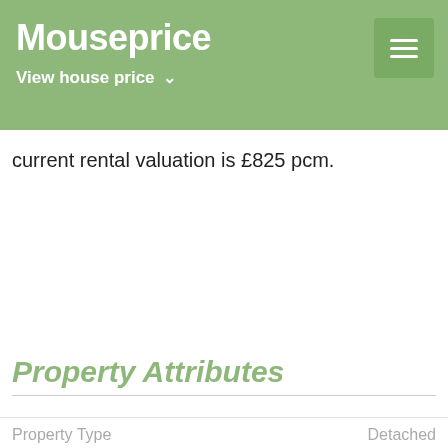Mouseprice — View house price
current rental valuation is £825 pcm.
Property Attributes
Property Type    Detached